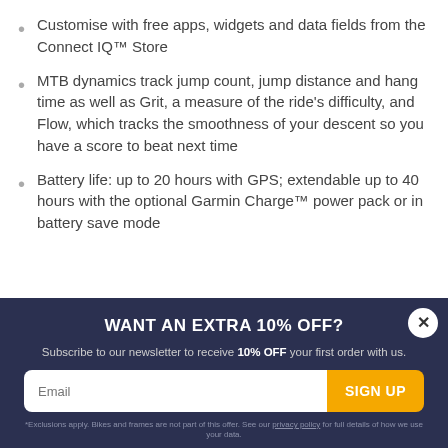Customise with free apps, widgets and data fields from the Connect IQ™ Store
MTB dynamics track jump count, jump distance and hang time as well as Grit, a measure of the ride's difficulty, and Flow, which tracks the smoothness of your descent so you have a score to beat next time
Battery life: up to 20 hours with GPS; extendable up to 40 hours with the optional Garmin Charge™ power pack or in battery save mode
WANT AN EXTRA 10% OFF?
Subscribe to our newsletter to receive 10% OFF your first order with us.
Email
SIGN UP
*Exclusions apply. Bikes and frames are not part of this offer. See our privacy policy for full details of how we use your data.
DELIVERY